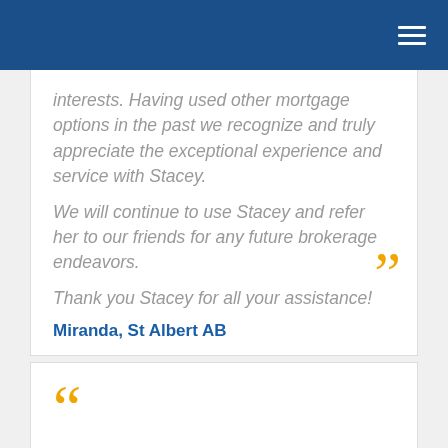Navigation bar with hamburger menu
interests. Having used other mortgage options in the past we recognize and truly appreciate the exceptional experience and service with Stacey.

We will continue to use Stacey and refer her to our friends for any future brokerage endeavors.

Thank you Stacey for all your assistance!
Miranda, St Albert AB
Stacey is amazing at what she does. If you don't